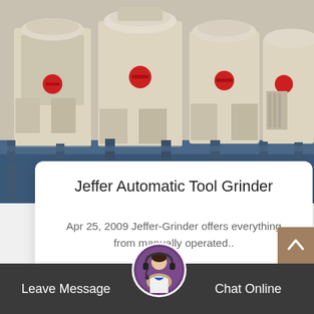[Figure (photo): Industrial grinding/crushing machines in a row, cream/beige colored with red valve wheels, mounted on blue metal frames in a factory or outdoor setting]
Jeffer Automatic Tool Grinder
Apr 25, 2009 Jeffer-Grinder offers everything from manually operated..
Read More >
Leave Message   Chat Online